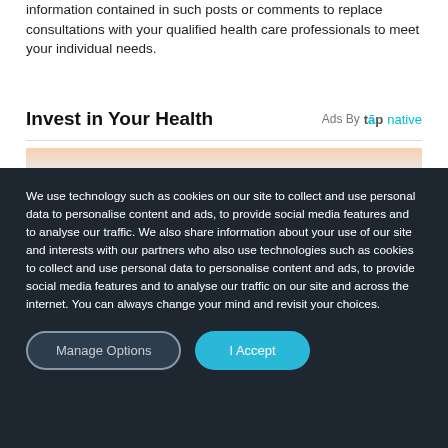information contained in such posts or comments to replace consultations with your qualified health care professionals to meet your individual needs.
Invest in Your Health
[Figure (photo): Close-up photo of a hand holding a blue medical instrument or syringe, light blue background]
We use technology such as cookies on our site to collect and use personal data to personalise content and ads, to provide social media features and to analyse our traffic. We also share information about your use of our site and interests with our partners who also use technologies such as cookies to collect and use personal data to personalise content and ads, to provide social media features and to analyse our traffic on our site and across the internet. You can always change your mind and revisit your choices.